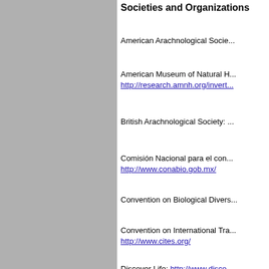Societies and Organizations
American Arachnological Socie...
American Museum of Natural H... http://research.amnh.org/invert...
British Arachnological Society: ...
Comisión Nacional para el con... http://www.conabio.gob.mx/
Convention on Biological Divers...
Convention on International Tra... http://www.cites.org/
Discover Life: http://www.disco...
European Society of Arachnolo...
Entomological Society of Ameri...
Global Biodiversity Information...
Global Environment Facility (Gl...